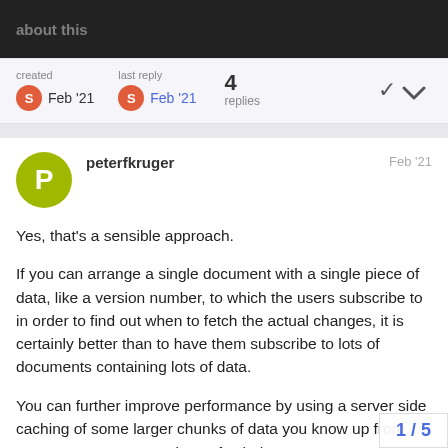created | last reply | 4 replies
peterfkruger   Feb '21
Yes, that's a sensible approach.
If you can arrange a single document with a single piece of data, like a version number, to which the users subscribe to in order to find out when to fetch the actual changes, it is certainly better than to have them subscribe to lots of documents containing lots of data.
You can further improve performance by using a server side caching of some larger chunks of data you know up front your 1000 users are going to fetch them very so synchronizing a server side cache with inte
1 / 5